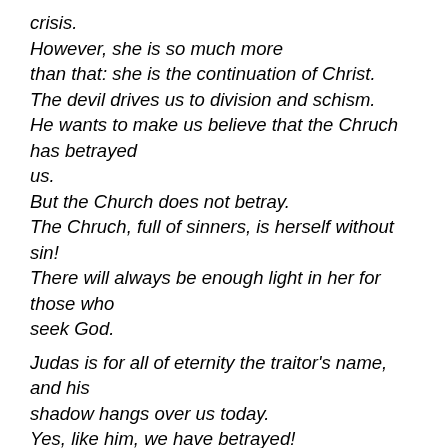crisis.
However, she is so much more than that: she is the continuation of Christ.
The devil drives us to division and schism.
He wants to make us believe that the Chruch has betrayed us.
But the Church does not betray.
The Chruch, full of sinners, is herself without sin!
There will always be enough light in her for those who seek God.

Judas is for all of eternity the traitor's name, and his shadow hangs over us today.
Yes, like him, we have betrayed!
We have abandoned prayer.
The evil of efficient activism has infiltrated everywhere.
We substitute the organization of kindness...